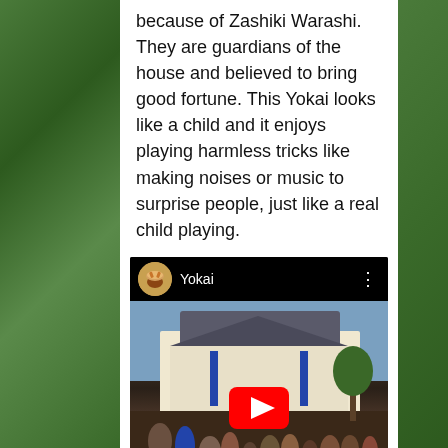because of Zashiki Warashi. They are guardians of the house and believed to bring good fortune. This Yokai looks like a child and it enjoys playing harmless tricks like making noises or music to surprise people, just like a real child playing.
[Figure (screenshot): YouTube video embed showing a historical Japanese scene titled 'Yokai' with a subtitle reading 'Around 200 years ago, during the late Edo period.' A red YouTube play button is overlaid on the video thumbnail showing a crowd in traditional Japanese setting.]